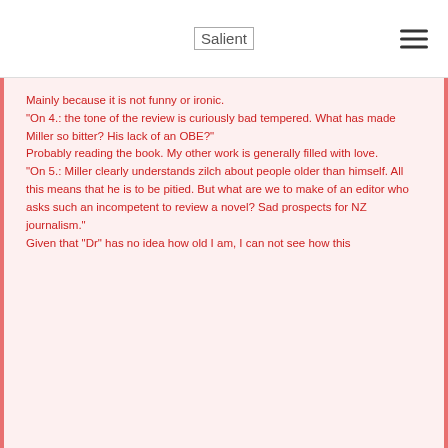Salient
Mainly because it is not funny or ironic.
“On 4.: the tone of the review is curiously bad tempered. What has made Miller so bitter? His lack of an OBE?”
Probably reading the book. My other work is generally filled with love.
“On 5.: Miller clearly understands zilch about people older than himself. All this means that he is to be pitied. But what are we to make of an editor who asks such an incompetent to review a novel? Sad prospects for NZ journalism.”
Given that “Dr” has no idea how old I am, I can not see how this